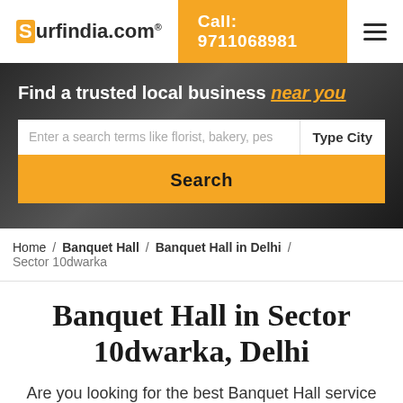Surfindia.com® | Call: 9711068981
Find a trusted local business near you
Enter a search terms like florist, bakery, pes | Type City | Search
Home / Banquet Hall / Banquet Hall in Delhi / Sector 10dwarka
Banquet Hall in Sector 10dwarka, Delhi
Are you looking for the best Banquet Hall service